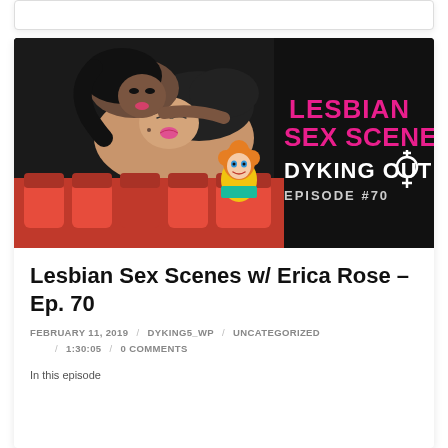[Figure (illustration): Podcast episode thumbnail for 'Dyking Out Episode #70' with illustrated characters and text 'LESBIAN SEX SCENES DYKING OUT EPISODE #70' on black background]
Lesbian Sex Scenes w/ Erica Rose – Ep. 70
FEBRUARY 11, 2019 / DYKING5_WP / UNCATEGORIZED / 1:30:05 / 0 COMMENTS
In this episode...